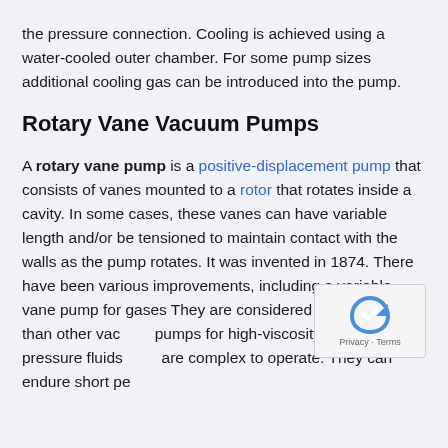the pressure connection. Cooling is achieved using a water-cooled outer chamber. For some pump sizes additional cooling gas can be introduced into the pump.
Rotary Vane Vacuum Pumps
A rotary vane pump is a positive-displacement pump that consists of vanes mounted to a rotor that rotates inside a cavity. In some cases, these vanes can have variable length and/or be tensioned to maintain contact with the walls as the pump rotates. It was invented in 1874. There have been various improvements, including a variable vane pump for gases  They are considered less suitable than other vacuum pumps for high-viscosity and high-pressure fluids, and are complex to operate. They can endure short periods